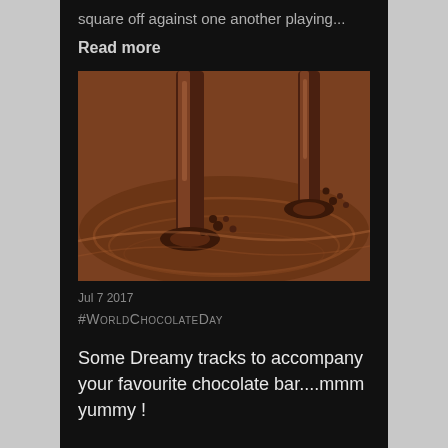square off against one another playing...
Read more
[Figure (photo): Close-up photo of melted chocolate being poured, showing glossy brown liquid chocolate with ripples and streaks.]
Jul 7 2017
#WorldChocolateDay
Some Dreamy tracks to accompany your favourite chocolate bar....mmm yummy !